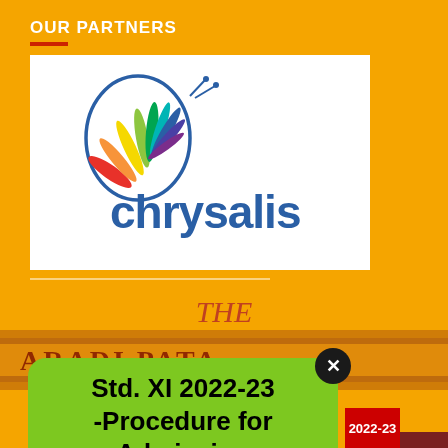OUR PARTNERS
[Figure (logo): Chrysalis logo — colorful butterfly/fan design with the word 'chrysalis' in blue lowercase text on a white background]
THE
[Figure (photo): Partial banner image showing 'MARADI PATA...' text on a decorated orange/gold surface]
Std. XI 2022-23 -Procedure for Admission
2022-23